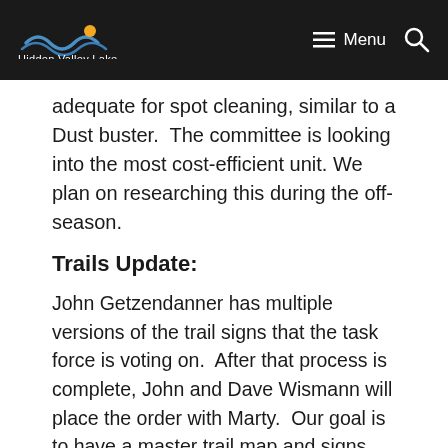Hidden Valley Lake | Menu
adequate for spot cleaning, similar to a Dust buster. The committee is looking into the most cost-efficient unit. We plan on researching this during the off-season.
Trails Update:
John Getzendanner has multiple versions of the trail signs that the task force is voting on. After that process is complete, John and Dave Wismann will place the order with Marty. Our goal is to have a master trail map and signs marking the trails installed for the 50th year celebration.